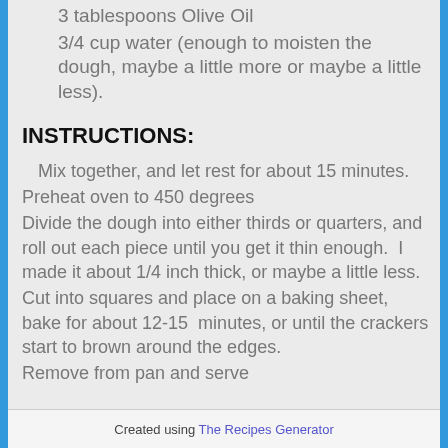3 tablespoons Olive Oil
3/4 cup water (enough to moisten the dough, maybe a little more or maybe a little less).
INSTRUCTIONS:
Mix together, and let rest for about 15 minutes.
Preheat oven to 450 degrees
Divide the dough into either thirds or quarters, and roll out each piece until you get it thin enough.  I made it about 1/4 inch thick, or maybe a little less.
Cut into squares and place on a baking sheet, bake for about 12-15  minutes, or until the crackers start to brown around the edges.
Remove from pan and serve
Created using The Recipes Generator